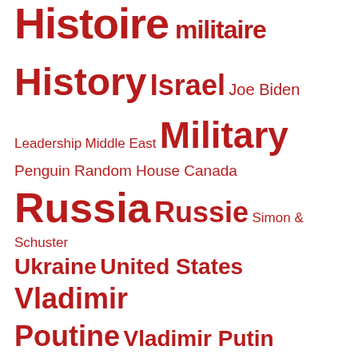[Figure (infographic): Tag cloud with various political, geographic, and publisher-related terms in different font sizes, all in dark red on white background. Terms include: Histoire militaire, History, Israel, Joe Biden, Leadership, Middle East, Military, Penguin Random House Canada, Russia, Russie, Simon & Schuster, Ukraine, United States, Vladimir Poutine, Vladimir Putin, Winston Churchill, World War II, Xi Jinping, Éditions Perrin, États-Unis]